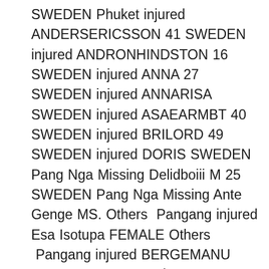SWEDEN Phuket injured ANDERSERICSSON 41 SWEDEN injured ANDRONHINDSTON 16 SWEDEN injured ANNA 27 SWEDEN injured ANNARISA SWEDEN injured ASAEARMBT 40 SWEDEN injured BRILORD 49 SWEDEN injured DORIS SWEDEN Pang Nga Missing Delidboiii M 25 SWEDEN Pang Nga Missing Ante Genge MS. Others  Pangang injured Esa Isotupa FEMALE Others  Pangang injured BERGEMANU LARISSA MALES. Others  Pangang injured Biehard Letjsul MALES. Others  Pangang injured Antureca – MS. Others  Pangang injured Chaiestel – MALE. Others  Pangang injured Klistofter – FEMALE Others  Pangang injured Lukas – FEMALE Others  Pangang injured Maiane – MALE Others  Pangang injured Michel – BOY Others  Pangang injured Patreck – FEMALE Others  Pangang injured Foreigner 170 cm F  Others  Patong Hospital Phuket dead Foreigner 170 cm. Black swimsuit,